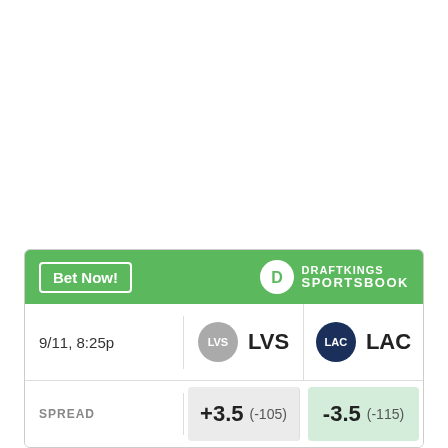[Figure (infographic): DraftKings Sportsbook betting widget showing LVS vs LAC matchup on 9/11 8:25p with spread odds: LVS +3.5 (-105), LAC -3.5 (-115)]